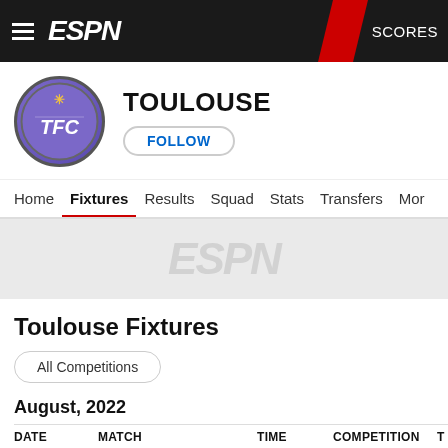ESPN — SCORES
TOULOUSE
FOLLOW
Home  Fixtures  Results  Squad  Stats  Transfers  More
[Figure (logo): ESPN watermark/advertisement banner area with faded ESPN logo]
Toulouse Fixtures
All Competitions
August, 2022
| DATE | MATCH |  |  |  |  | TIME | COMPETITION | T |
| --- | --- | --- | --- | --- | --- | --- | --- | --- |
| Sun, Aug 21 | TOUL | [badge] | v | [badge] | LOR | 1:00 PM | French Ligue 1 |  |
| Sun, Aug 28 | NAN | [badge] | v | [badge] | TOUL | 11:00 AM | French Ligue 1 |  |